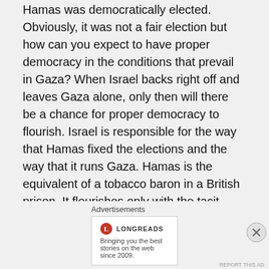Hamas was democratically elected. Obviously, it was not a fair election but how can you expect to have proper democracy in the conditions that prevail in Gaza? When Israel backs right off and leaves Gaza alone, only then will there be a chance for proper democracy to flourish. Israel is responsible for the way that Hamas fixed the elections and the way that it runs Gaza. Hamas is the equivalent of a tobacco baron in a British prison. It flourishes only with the tacit consent
Advertisements
[Figure (other): Longreads advertisement banner with logo and tagline: Bringing you the best stories on the web since 2009.]